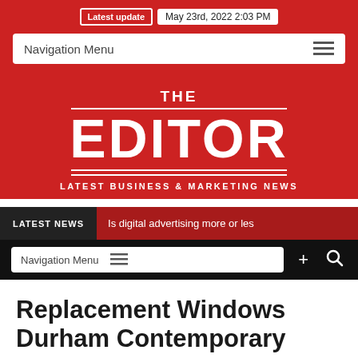Latest update May 23rd, 2022 2:03 PM
Navigation Menu
[Figure (logo): The Editor — Latest Business & Marketing News logo on red background]
LATEST NEWS   Is digital advertising more or les
Navigation Menu
Replacement Windows Durham Contemporary